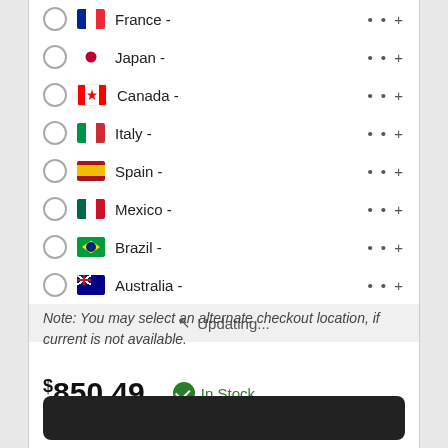France - ●●+
Japan - ●●+
Canada - ●●+
Italy - ●●+
Spain - ●●+
Mexico - ●●+
Brazil - ●●+
Australia - ●●+
Updating...
Note: You may select an alternate checkout location, if current is not available.
$850.49   In Stock